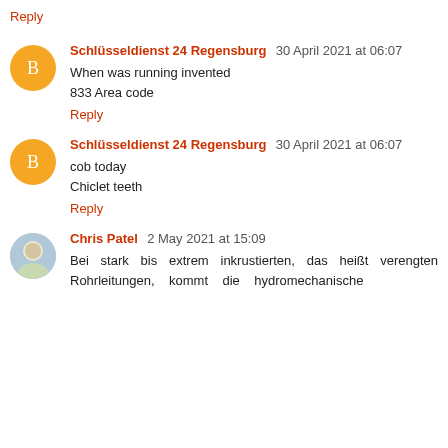Reply
Schlüsseldienst 24 Regensburg  30 April 2021 at 06:07
When was running invented
833 Area code
Reply
Schlüsseldienst 24 Regensburg  30 April 2021 at 06:07
cob today
Chiclet teeth
Reply
Chris Patel  2 May 2021 at 15:09
Bei stark bis extrem inkrustierten, das heißt verengten Rohrleitungen,    kommt    die    hydromechanische